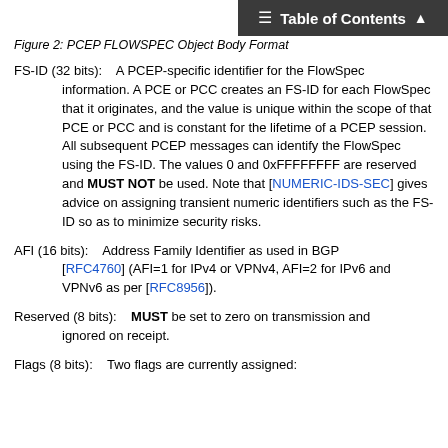Table of Contents
Figure 2: PCEP FLOWSPEC Object Body Format
FS-ID (32 bits):    A PCEP-specific identifier for the FlowSpec information. A PCE or PCC creates an FS-ID for each FlowSpec that it originates, and the value is unique within the scope of that PCE or PCC and is constant for the lifetime of a PCEP session. All subsequent PCEP messages can identify the FlowSpec using the FS-ID. The values 0 and 0xFFFFFFFF are reserved and MUST NOT be used. Note that [NUMERIC-IDS-SEC] gives advice on assigning transient numeric identifiers such as the FS-ID so as to minimize security risks.
AFI (16 bits):    Address Family Identifier as used in BGP [RFC4760] (AFI=1 for IPv4 or VPNv4, AFI=2 for IPv6 and VPNv6 as per [RFC8956]).
Reserved (8 bits):    MUST be set to zero on transmission and ignored on receipt.
Flags (8 bits):    Two flags are currently assigned: